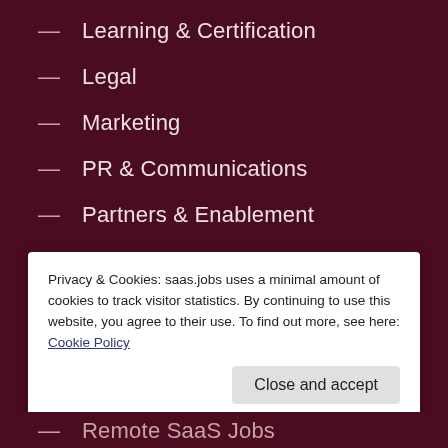— Learning & Certification
— Legal
— Marketing
— PR & Communications
— Partners & Enablement
— Product
— Program & Project Management
— Sales & Accounts
— Workplace Services
Privacy & Cookies: saas.jobs uses a minimal amount of cookies to track visitor statistics. By continuing to use this website, you agree to their use. To find out more, see here: Cookie Policy
— Remote SaaS Jobs